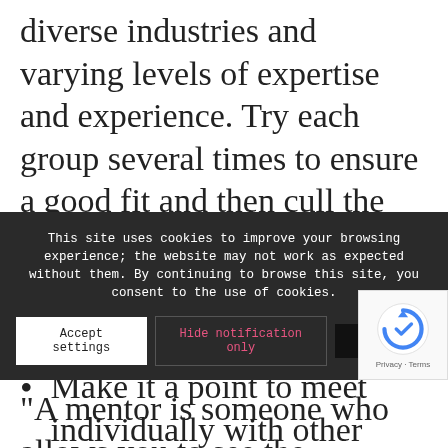diverse industries and varying levels of expertise and experience. Try each group several times to ensure a good fit and then cull the ones you're not comfortable with, but keep at least two you'll attend regularly.
Make it a point to meet individually with other professionals.
There are two kinds of professionals you should cultivate: those in similar and different industries as yours. But, don't stop there. Meet with people who have both less and experience than you.
"A mentor is someone who allows you to see the
This site uses cookies to improve your browsing experience; the website may not work as expected without them. By continuing to browse this site, you consent to the use of cookies.